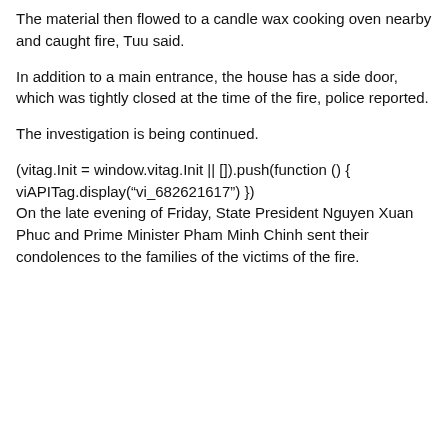The material then flowed to a candle wax cooking oven nearby and caught fire, Tuu said.
In addition to a main entrance, the house has a side door, which was tightly closed at the time of the fire, police reported.
The investigation is being continued.
(vitag.Init = window.vitag.Init || []).push(function () { viAPITag.display(“vi_682621617”) })
On the late evening of Friday, State President Nguyen Xuan Phuc and Prime Minister Pham Minh Chinh sent their condolences to the families of the victims of the fire.